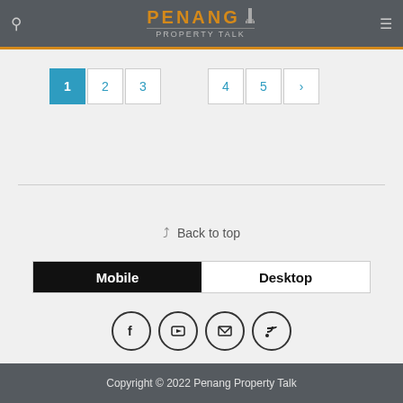Penang Property Talk
[Figure (screenshot): Pagination showing pages 1 (active/blue), 2, 3, 4, 5, and next arrow button]
[Figure (infographic): Back to top link with arrow icon]
[Figure (infographic): Mobile / Desktop toggle bar, Mobile selected (black), Desktop unselected (white)]
[Figure (infographic): Social media icons: Facebook, YouTube, Email, RSS feed - all in circular borders]
Copyright © 2022 Penang Property Talk